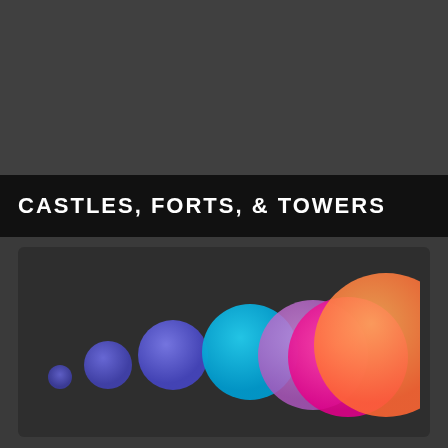[Figure (illustration): Dark gray rectangular panel at top of page]
CASTLES, FORTS, & TOWERS
[Figure (bubble-chart): A series of circles increasing in size from left to right, colored in gradients from dark blue/purple on the left to cyan, then pink/magenta, then orange/peach on the right, against a dark background. The circles overlap toward the right side.]